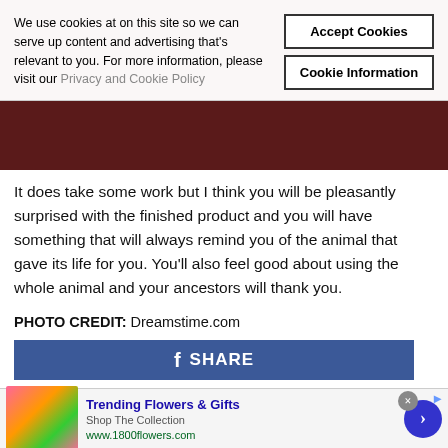We use cookies at on this site so we can serve up content and advertising that's relevant to you. For more information, please visit our Privacy and Cookie Policy
It does take some work but I think you will be pleasantly surprised with the finished product and you will have something that will always remind you of the animal that gave its life for you. You'll also feel good about using the whole animal and your ancestors will thank you.
PHOTO CREDIT: Dreamstime.com
[Figure (screenshot): Facebook Share button bar in blue]
[Figure (screenshot): Advertisement for Trending Flowers & Gifts from 1800flowers.com with flower bouquet image]